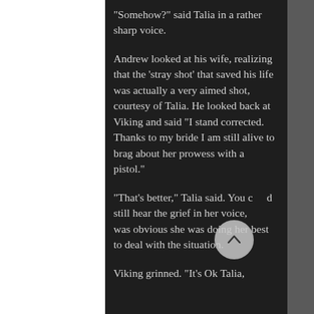“Somehow?” said Talia in a rather sharp voice.
Andrew looked at his wife, realizing that the ‘stray shot’ that saved his life was actually a very aimed shot, courtesy of Talia.  He looked back at Viking and said “I stand corrected.  Thanks to my bride I am still alive to brag about her prowess with a pistol.”
“That’s better,” Talia said.  You could still hear the grief in her voice, but it was obvious she was doing her best to deal with the situation.
Viking grinned.  “It’s Ok Talia,